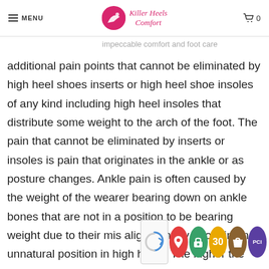MENU | Killer Heels Comfort | 0
additional pain points that cannot be eliminated by high heel shoes inserts or high heel shoe insoles of any kind including high heel insoles that distribute some weight to the arch of the foot. The pain that cannot be eliminated by inserts or insoles is pain that originates in the ankle or as posture changes. Ankle pain is often caused by the weight of the wearer bearing down on ankle bones that are not in a position to be bearing weight due to their mis alignment by a foot in an unnatural position in high heels. The higher the heel the worse the pain usually. Generally heels less than this are not a problem, but nearly all heels over this are
[Figure (other): Browser overlay icons at bottom right: reCAPTCHA widget, map pin icon, green lock icon, yellow circle with 30, Shopify bag icon, purple PCI badge icon]